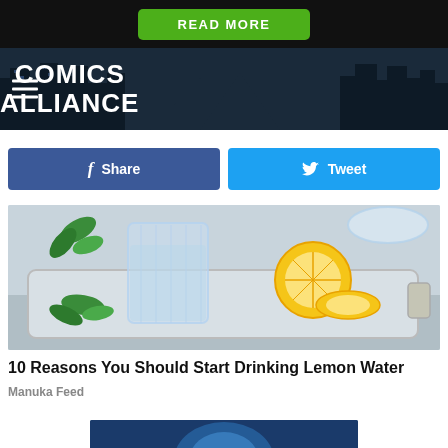READ MORE
[Figure (logo): Comics Alliance logo with city skyline background and hamburger menu icon on left]
Share
Tweet
[Figure (photo): Photo of a glass of water with lemon slices and mint leaves on a silver tray]
10 Reasons You Should Start Drinking Lemon Water
Manuka Feed
[Figure (photo): Partial bottom image, blue background, partially cut off]